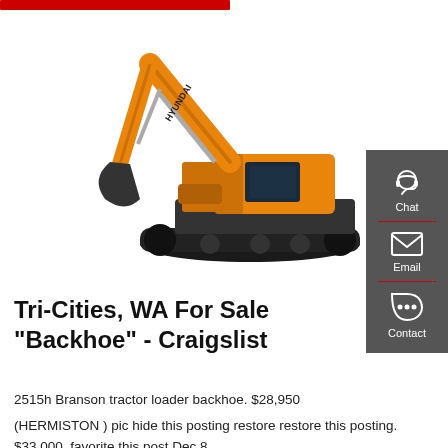[Figure (photo): Orange Hyundai excavator/backhoe on white background]
[Figure (infographic): Dark gray sidebar with Chat, Email, and Contact buttons with icons]
Tri-Cities, WA For Sale "Backhoe" - Craigslist
2515h Branson tractor loader backhoe. $28,950
(HERMISTON ) pic hide this posting restore restore this posting. $33,000. favorite this post Dec 8